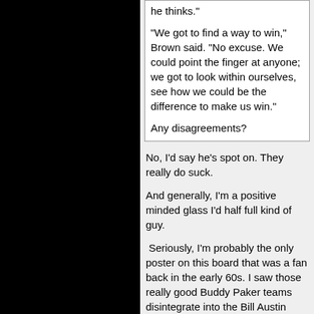he thinks."
"We got to find a way to win," Brown said. "No excuse. We could point the finger at anyone; we got to look within ourselves, see how we could be the difference to make us win."
Any disagreements?
No, I'd say he's spot on. They really do suck.
And generally, I'm a positive minded glass I'd half full kind of guy.
Seriously, I'm probably the only poster on this board that was a fan back in the early 60s. I saw those really good Buddy Paker teams disintegrate into the Bill Austin disaster. I saw the